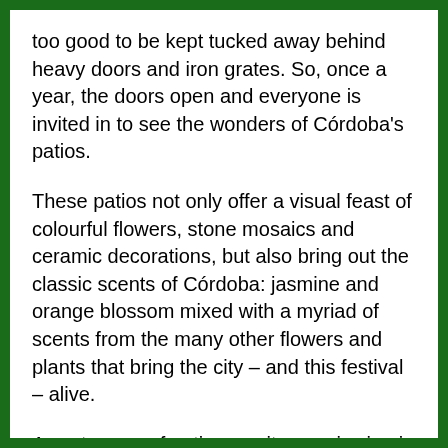too good to be kept tucked away behind heavy doors and iron grates. So, once a year, the doors open and everyone is invited in to see the wonders of Córdoba's patios.
These patios not only offer a visual feast of colourful flowers, stone mosaics and ceramic decorations, but also bring out the classic scents of Córdoba: jasmine and orange blossom mixed with a myriad of scents from the many other flowers and plants that bring the city – and this festival – alive.
A vast range of patios await your viewing in Córdoba every year, with not only private, single-family homes opening their doors to show you the lovely courtyards around which their old-style